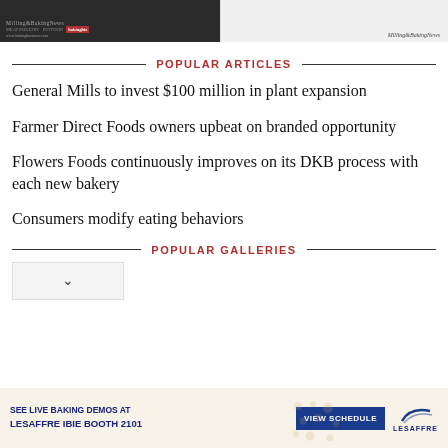[Figure (photo): Two magazine cover thumbnails at top - left shows a dark agricultural/food industry cover, right shows Milling & Baking News cover]
POPULAR ARTICLES
General Mills to invest $100 million in plant expansion
Farmer Direct Foods owners upbeat on branded opportunity
Flowers Foods continuously improves on its DKB process with each new bakery
Consumers modify eating behaviors
POPULAR GALLERIES
[Figure (other): Dropdown/chevron arrow UI element for galleries]
[Figure (other): Lesaffre advertisement banner: SEE LIVE BAKING DEMOS AT LESAFFRE IBIE BOOTH 2101 with VIEW SCHEDULE button and Lesaffre logo]